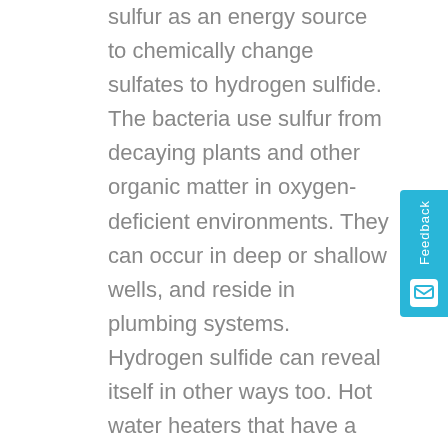sulfur as an energy source to chemically change sulfates to hydrogen sulfide. The bacteria use sulfur from decaying plants and other organic matter in oxygen-deficient environments. They can occur in deep or shallow wells, and reside in plumbing systems. Hydrogen sulfide can reveal itself in other ways too. Hot water heaters that have a magnesium rod used for corrosion control can chemically reduce sulfates to hydrogen sulfide. Hydrogen sulfide also can enter surface water through springs as well.   It is most common in shale and sandstone. The occurrence of hydrogen sulfide gas has been associated with groundwater with...